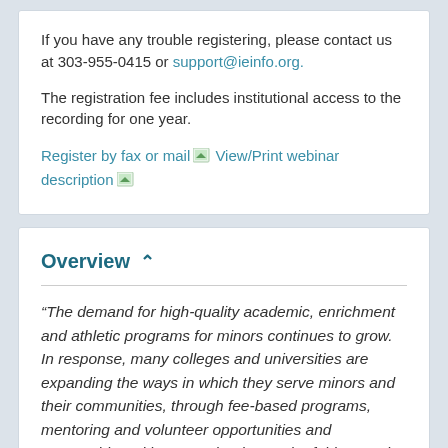If you have any trouble registering, please contact us at 303-955-0415 or support@ieinfo.org.
The registration fee includes institutional access to the recording for one year.
Register by fax or mail  View/Print webinar description
Overview
“The demand for high-quality academic, enrichment and athletic programs for minors continues to grow. In response, many colleges and universities are expanding the ways in which they serve minors and their communities, through fee-based programs, mentoring and volunteer opportunities and partnerships with K-12 schools. Much of this growth